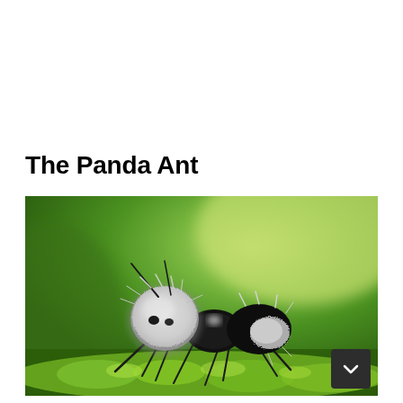The Panda Ant
[Figure (photo): Close-up macro photograph of a panda ant (Euspinolia militaris), a wingless wasp with black and white fuzzy fur resembling a panda, standing on green moss against a blurred green background.]